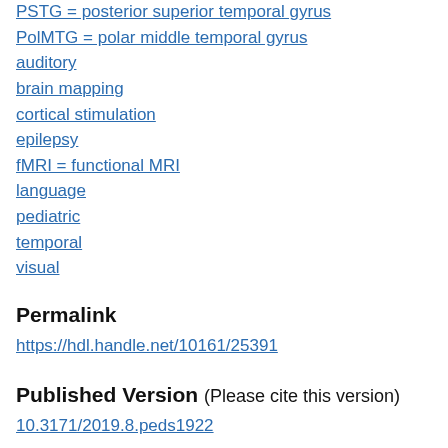PSTG = posterior superior temporal gyrus
PolMTG = polar middle temporal gyrus
auditory
brain mapping
cortical stimulation
epilepsy
fMRI = functional MRI
language
pediatric
temporal
visual
Permalink
https://hdl.handle.net/10161/25391
Published Version (Please cite this version)
10.3171/2019.8.peds1922
Publication Info